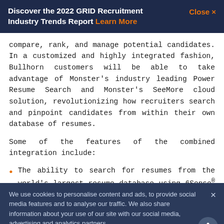Discover the 2022 GRID Recruitment Industry Trends Report Learn More   Close ×
compare, rank, and manage potential candidates. In a customized and highly integrated fashion, Bullhorn customers will be able to take advantage of Monster's industry leading Power Resume Search and Monster's SeeMore cloud solution, revolutionizing how recruiters search and pinpoint candidates from within their own database of resumes.
Some of the features of the combined integration include:
The ability to search for resumes from the world's largest resume database using 6Sense® search
We use cookies to personalise content and ads, to provide social media features and to analyse our traffic. We also share information about your use of our site with our social media, advertising and analytics partners.